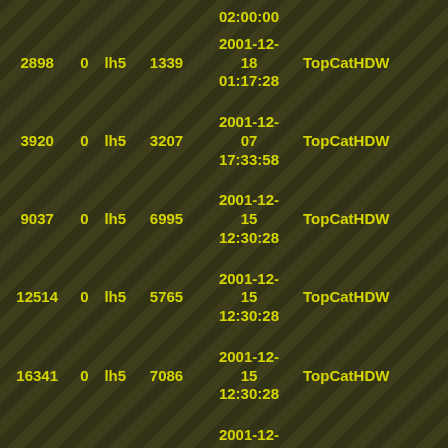| ID | 0 | type | val | datetime | user |
| --- | --- | --- | --- | --- | --- |
| 2898 | 0 | lh5 | 1339 | 2001-12-18
01:17:28 | TopCatHDW |
| 3920 | 0 | lh5 | 3207 | 2001-12-07
17:33:58 | TopCatHDW |
| 9037 | 0 | lh5 | 6995 | 2001-12-15
12:30:28 | TopCatHDW |
| 12514 | 0 | lh5 | 5765 | 2001-12-15
12:30:28 | TopCatHDW |
| 16341 | 0 | lh5 | 7086 | 2001-12-15
12:30:28 | TopCatHDW |
| 8106 | 0 | lh5 | 6348 | 2001-12-15
04:36:02 | TopCatHDW |
| 84 | 0 | lh0 | 84 | 2001-12-15
18:59:16 | TopCatHDW |